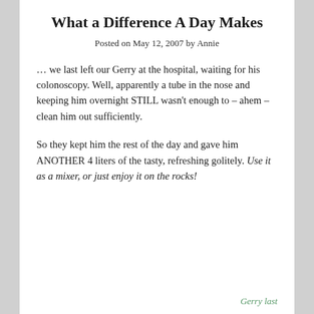What a Difference A Day Makes
Posted on May 12, 2007 by Annie
… we last left our Gerry at the hospital, waiting for his colonoscopy. Well, apparently a tube in the nose and keeping him overnight STILL wasn't enough to – ahem – clean him out sufficiently.
So they kept him the rest of the day and gave him ANOTHER 4 liters of the tasty, refreshing golitely. Use it as a mixer, or just enjoy it on the rocks!
Gerry last